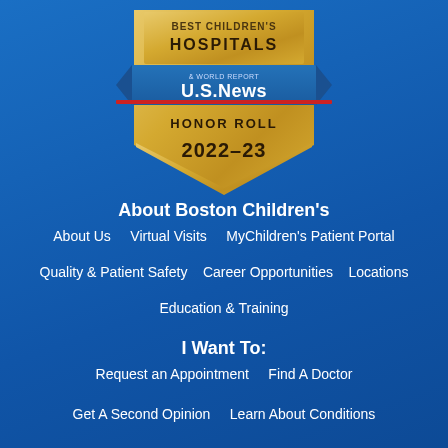[Figure (logo): U.S. News & World Report Best Children's Hospitals Honor Roll 2022-23 gold badge/shield with blue banner]
About Boston Children's
About Us
Virtual Visits
MyChildren's Patient Portal
Quality & Patient Safety
Career Opportunities
Locations
Education & Training
I Want To:
Request an Appointment
Find A Doctor
Get A Second Opinion
Learn About Conditions